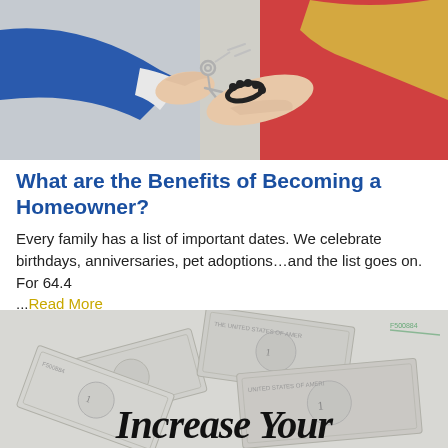[Figure (photo): Photo of a hand in a blue suit jacket passing keys to a woman's open hand with a black beaded bracelet, against a light background.]
What are the Benefits of Becoming a Homeowner?
Every family has a list of important dates. We celebrate birthdays, anniversaries, pet adoptions…and the list goes on. For 64.4 ...Read More
[Figure (photo): Photo of scattered US dollar bills in grayscale with bold italic black text overlay reading 'Increase Your']